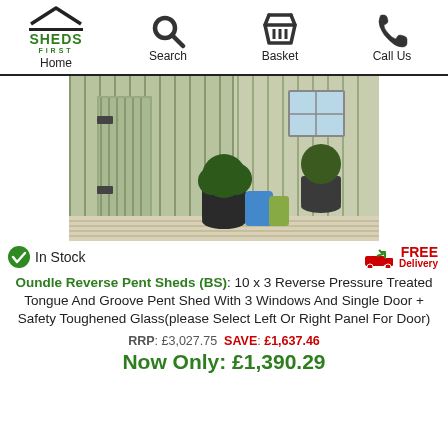Home | Search | Basket | Call Us
[Figure (photo): Photo of a wooden pent shed with tongue and groove boards, showing the door with hinges and plant pots on a decked patio]
In Stock
FREE Delivery
Oundle Reverse Pent Sheds (BS): 10 x 3 Reverse Pressure Treated Tongue And Groove Pent Shed With 3 Windows And Single Door + Safety Toughened Glass(please Select Left Or Right Panel For Door)
RRP: £3,027.75  SAVE: £1,637.46
Now Only: £1,390.29